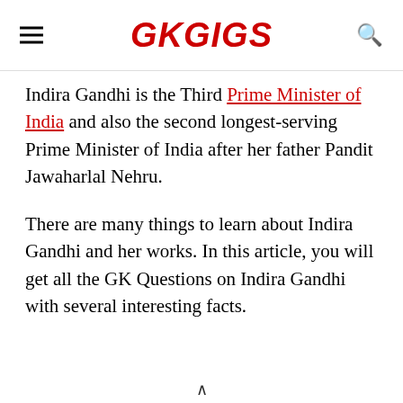GKGIGS
Indira Gandhi is the Third Prime Minister of India and also the second longest-serving Prime Minister of India after her father Pandit Jawaharlal Nehru.
There are many things to learn about Indira Gandhi and her works. In this article, you will get all the GK Questions on Indira Gandhi with several interesting facts.